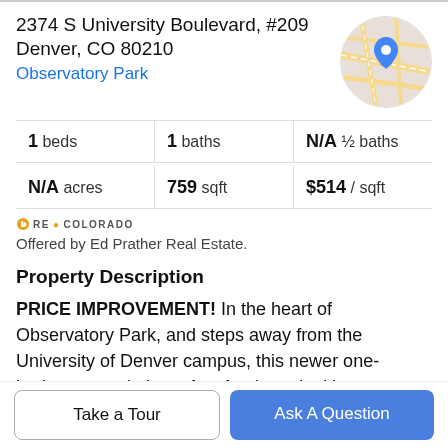2374 S University Boulevard, #209
Denver, CO 80210
Observatory Park
[Figure (map): Circular map thumbnail showing street map with blue location pin marker]
| 1 beds | 1 baths | N/A ½ baths |
| N/A acres | 759 sqft | $514 / sqft |
[Figure (logo): RE/COLORADO logo with small orange house icon]
Offered by Ed Prather Real Estate.
Property Description
PRICE IMPROVEMENT! In the heart of Observatory Park, and steps away from the University of Denver campus, this newer one-bedroom condo is perfect for those looking for a new community in a highly desirable and vibrant